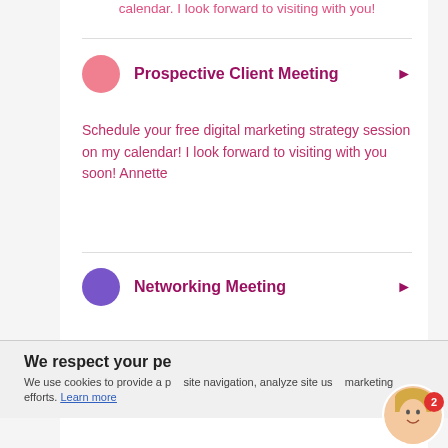calendar. I look forward to visiting with you!
Prospective Client Meeting
Schedule your free digital marketing strategy session on my calendar! I look forward to visiting with you soon! Annette
Networking Meeting
We respect your pe...
We use cookies to provide a p... site navigation, analyze site us... marketing efforts. Learn more
I'm a real, live person - a team member here at Law Quill. How can I help you?
Start Chat
No Thanks